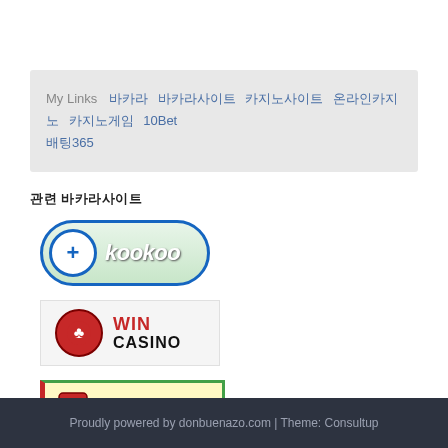My Links  바카라 바카라사이트 카지노사이트 온라인카지노 카지노게임 10Bet 배팅365
관련 바카라사이트
[Figure (logo): Kookoo logo - circular icon with plus sign, green pill-shaped background with blue border, white italic text 'kookoo']
[Figure (logo): Win Casino logo - red circular icon with spade/club symbol, text WIN in red and CASINO in black]
[Figure (logo): OctCasino logo - red dice, yellow background with red/orange bold text OCTCASINO, green border]
Proudly powered by donbuenazo.com | Theme: Consultup